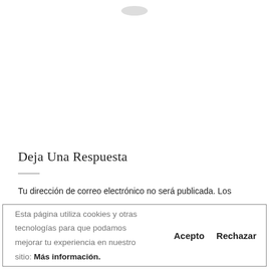[Figure (illustration): Small icon or logo at the top center of the page, partially visible]
Deja Una Respuesta
Tu dirección de correo electrónico no será publicada. Los
Esta página utiliza cookies y otras tecnologías para que podamos mejorar tu experiencia en nuestro sitio: Más información.
Acepto  Rechazar